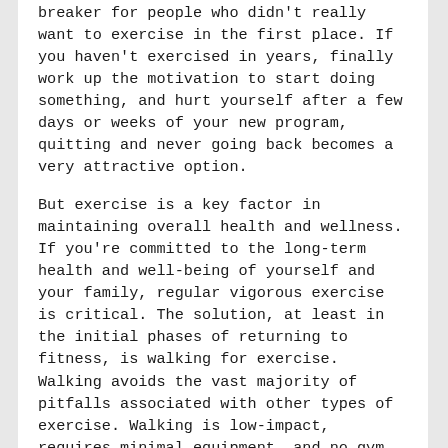breaker for people who didn't really want to exercise in the first place. If you haven't exercised in years, finally work up the motivation to start doing something, and hurt yourself after a few days or weeks of your new program, quitting and never going back becomes a very attractive option.
But exercise is a key factor in maintaining overall health and wellness. If you're committed to the long-term health and well-being of yourself and your family, regular vigorous exercise is critical. The solution, at least in the initial phases of returning to fitness, is walking for exercise. Walking avoids the vast majority of pitfalls associated with other types of exercise. Walking is low-impact, requires minimal equipment, and no gym memberships are needed. Walking is done outside in fresh air and sunshine, providing many additional benefits beyond those gained by exercise as such.
Walking is excellent exercise,1 and yet it's important to follow some basic guidelines. Starting slowly is the main consideration. If you haven't